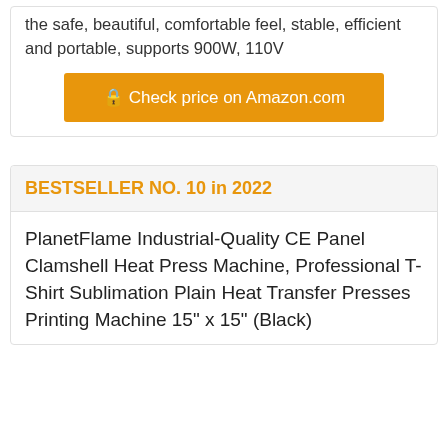the safe, beautiful, comfortable feel, stable, efficient and portable, supports 900W, 110V
🔒 Check price on Amazon.com
BESTSELLER NO. 10 in 2022
PlanetFlame Industrial-Quality CE Panel Clamshell Heat Press Machine, Professional T-Shirt Sublimation Plain Heat Transfer Presses Printing Machine 15" x 15" (Black)